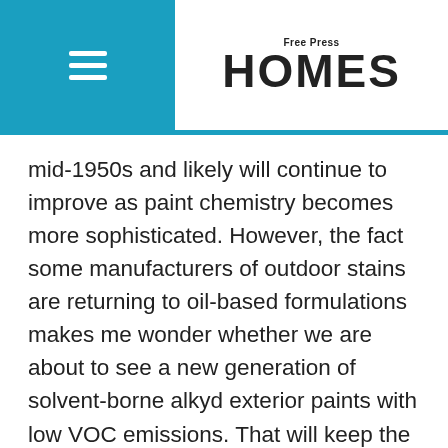Free Press HOMES
mid-1950s and likely will continue to improve as paint chemistry becomes more sophisticated. However, the fact some manufacturers of outdoor stains are returning to oil-based formulations makes me wonder whether we are about to see a new generation of solvent-borne alkyd exterior paints with low VOC emissions. That will keep the paint debate current.
davidsquare81@yahoo.com